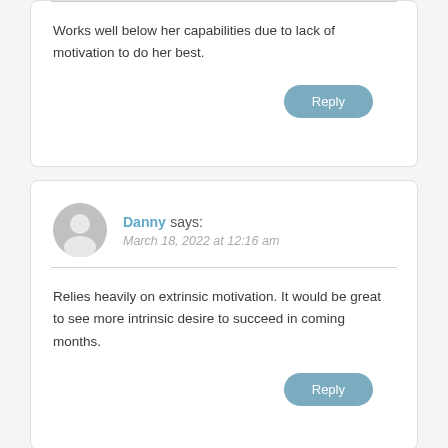Works well below her capabilities due to lack of motivation to do her best.
Reply
Danny says:
March 18, 2022 at 12:16 am
Relies heavily on extrinsic motivation. It would be great to see more intrinsic desire to succeed in coming months.
Reply